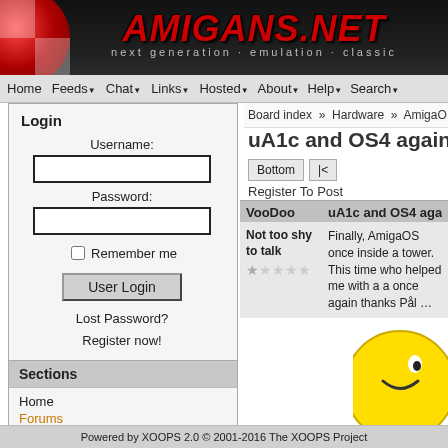[Figure (screenshot): Amigans.net website header banner with red logo text and tagline: next generation · emulation · classic]
Home  Feeds  Chat  Links  Hosted  About  Help  Search
Login
Username: [input] Password: [input] Remember me [checkbox] User Login Lost Password? Register now!
Sections
Home
Forums
News
User Profile
Headlines
Board index » Hardware » AmigaO…
uA1c and OS4 again…
Bottom  |<
Register To Post
VooDoo    uA1c and AmigaOS4 again :D
Not too shy to talk
Finally, AmigaOS once inside a tower. This time who helped me with a a once again thanks Pål …
Powered by XOOPS 2.0 © 2001-2016 The XOOPS Project